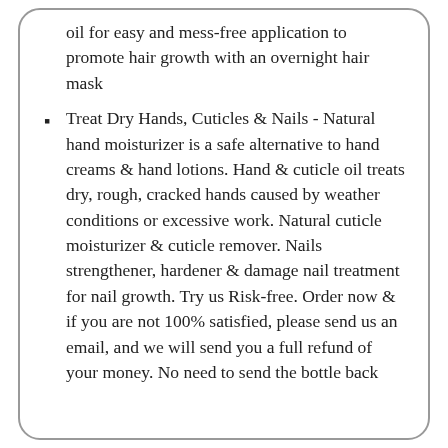oil for easy and mess-free application to promote hair growth with an overnight hair mask
Treat Dry Hands, Cuticles & Nails - Natural hand moisturizer is a safe alternative to hand creams & hand lotions. Hand & cuticle oil treats dry, rough, cracked hands caused by weather conditions or excessive work. Natural cuticle moisturizer & cuticle remover. Nails strengthener, hardener & damage nail treatment for nail growth. Try us Risk-free. Order now & if you are not 100% satisfied, please send us an email, and we will send you a full refund of your money. No need to send the bottle back